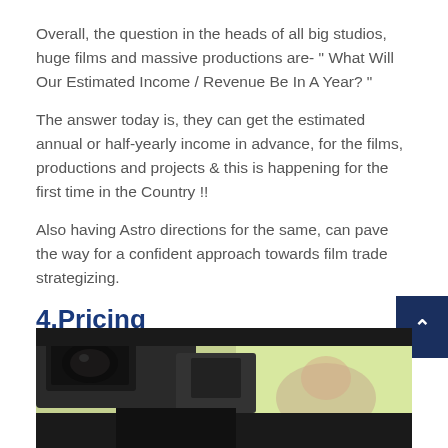Overall, the question in the heads of all big studios, huge films and massive productions are- " What Will Our Estimated Income / Revenue Be In A Year? "
The answer today is, they can get the estimated annual or half-yearly income in advance, for the films, productions and projects & this is happening for the first time in the Country !!
Also having Astro directions for the same, can pave the way for a confident approach towards film trade strategizing.
4.Pricing
[Figure (photo): Close-up photo showing what appears to be a camera or film equipment lens/viewfinder with a blurred background including green and dark tones, partial face visible in background.]